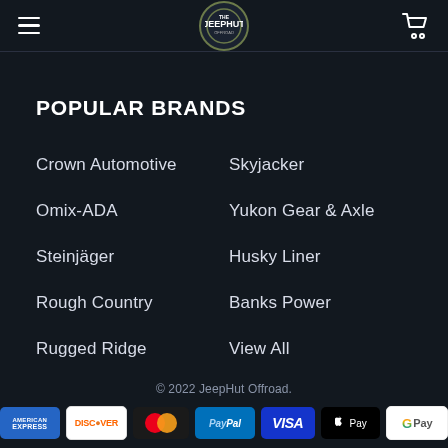The JeepHut
POPULAR BRANDS
Crown Automotive
Skyjacker
Omix-ADA
Yukon Gear & Axle
Steinjäger
Husky Liner
Rough Country
Banks Power
Rugged Ridge
View All
© 2022 JeepHut Offroad.
[Figure (logo): Payment method icons: American Express, Discover, Mastercard, PayPal, Visa, Apple Pay, Google Pay]